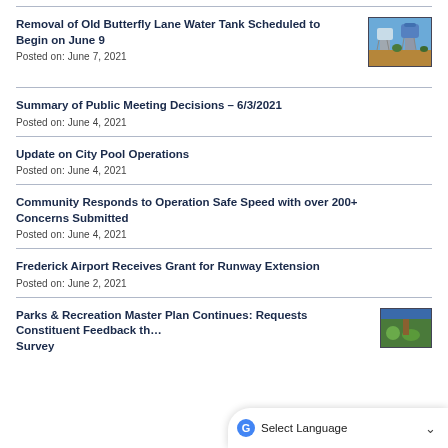Removal of Old Butterfly Lane Water Tank Scheduled to Begin on June 9
Posted on: June 7, 2021
[Figure (photo): Photo of two water towers against a blue sky]
Summary of Public Meeting Decisions – 6/3/2021
Posted on: June 4, 2021
Update on City Pool Operations
Posted on: June 4, 2021
Community Responds to Operation Safe Speed with over 200+ Concerns Submitted
Posted on: June 4, 2021
Frederick Airport Receives Grant for Runway Extension
Posted on: June 2, 2021
Parks & Recreation Master Plan Continues: Requests Constituent Feedback th… Survey
[Figure (photo): Partial photo of parks and recreation content]
Select Language